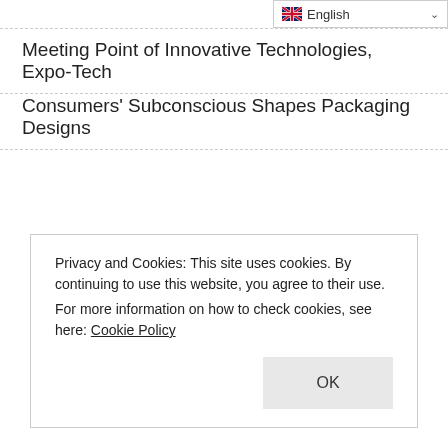English
Meeting Point of Innovative Technologies, Expo-Tech
Consumers' Subconscious Shapes Packaging Designs
Privacy and Cookies: This site uses cookies. By continuing to use this website, you agree to their use.
For more information on how to check cookies, see here: Cookie Policy